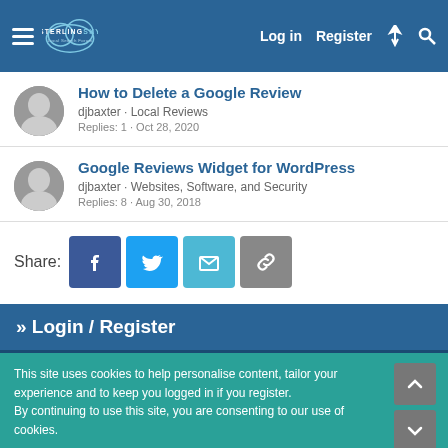Sterling Sky Local Search Forum — Log in | Register
How to Delete a Google Review
djbaxter · Local Reviews
Replies: 1 · Oct 28, 2020
Google Reviews Widget for WordPress
djbaxter · Websites, Software, and Security
Replies: 8 · Aug 30, 2018
Share:
» Login / Register
This site uses cookies to help personalise content, tailor your experience and to keep you logged in if you register.
By continuing to use this site, you are consenting to our use of cookies.
✓ Accept    Learn more…